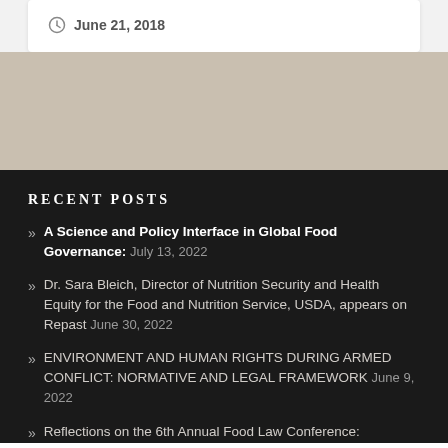June 21, 2018
RECENT POSTS
A Science and Policy Interface in Global Food Governance: July 13, 2022
Dr. Sara Bleich, Director of Nutrition Security and Health Equity for the Food and Nutrition Service, USDA, appears on Repast June 30, 2022
ENVIRONMENT AND HUMAN RIGHTS DURING ARMED CONFLICT: NORMATIVE AND LEGAL FRAMEWORK June 9, 2022
Reflections on the 6th Annual Food Law Conference: